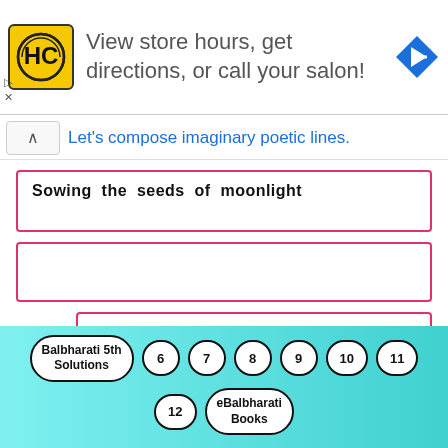[Figure (other): Advertisement banner with HC logo, text 'View store hours, get directions, or call your salon!' and a blue navigation diamond icon]
Let's compose imaginary poetic lines.
Sowing the seeds of moonlight
(empty input box)
Travelling among stars in a galaxy
(empty input box)
[Figure (other): Navigation footer with buttons: Balbharati 5th Solutions, 6, 7, 8, 9, 10, 11, 12, eBalbharati Books]
Balbharati 5th Solutions | 6 | 7 | 8 | 9 | 10 | 11 | 12 | eBalbharati Books